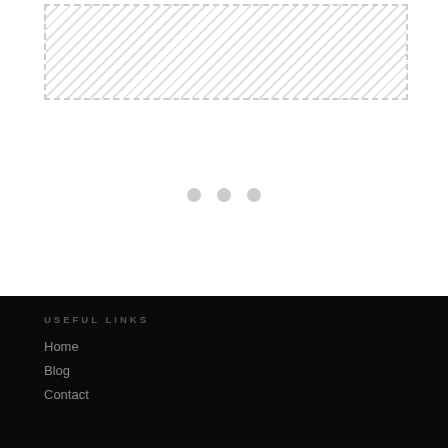[Figure (other): Hatched/dashed rectangle placeholder image area at the top of the page]
[Figure (other): Three small grey dots centered on the page, a loading or carousel indicator]
USEFUL LINKS
Home
Blog
Contact